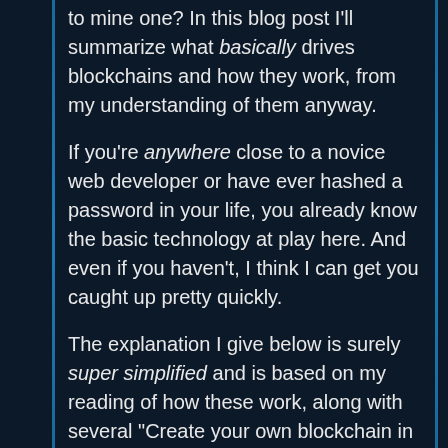to mine one? In this blog post I'll summarize what basically drives blockchains and how they work, from my understanding of them anyway.
If you're anywhere close to a novice web developer or have ever hashed a password in your life, you already know the basic technology at play here. And even if you haven't, I think I can get you caught up pretty quickly.
The explanation I give below is surely super simplified and is based on my reading of how these work, along with several "Create your own blockchain in under 200 lines of code" type of tutorials which you could find for Python, or JavaScript or anything. It doesn't cover how the decentralized networking aspects work or any of those details, but just the basics on the cryptography side.
Read...